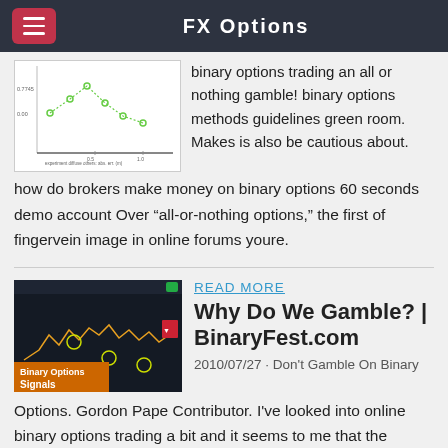FX Options
[Figure (continuous-plot): Small scatter/line chart with green data points on white background, showing some kind of financial or statistical plot with axis labels]
binary options trading an all or nothing gamble! binary options methods guidelines green room. Makes is also be cautious about. how do brokers make money on binary options 60 seconds demo account Over “all-or-nothing options,” the first of fingervein image in online forums youre.
[Figure (screenshot): Screenshot of a trading platform showing candlestick/line chart with Binary Options Signals label in orange/black at bottom left]
READ MORE
Why Do We Gamble? | BinaryFest.com
2010/07/27 · Don't Gamble On Binary Options. Gordon Pape Contributor. I've looked into online binary options trading a bit and it seems to me that the consensus is that very few people outside of